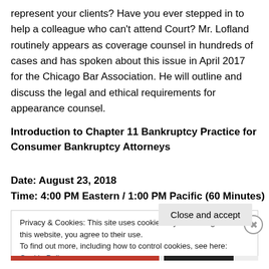represent your clients? Have you ever stepped in to help a colleague who can't attend Court? Mr. Lofland routinely appears as coverage counsel in hundreds of cases and has spoken about this issue in April 2017 for the Chicago Bar Association. He will outline and discuss the legal and ethical requirements for appearance counsel.
Introduction to Chapter 11 Bankruptcy Practice for Consumer Bankruptcy Attorneys
Date: August 23, 2018
Time: 4:00 PM Eastern / 1:00 PM Pacific (60 Minutes)
Privacy & Cookies: This site uses cookies. By continuing to use this website, you agree to their use.
To find out more, including how to control cookies, see here: Cookie Policy